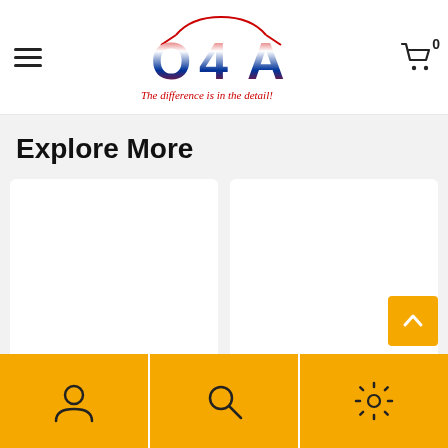[Figure (logo): OAA USA logo with American flag themed lettering and red sports car outline, tagline 'The difference is in the detail!']
Explore More
[Figure (photo): Two white product image card placeholders side by side with OAA USA brand labels at bottom]
[Figure (infographic): Bottom navigation bar with user/profile icon, search magnifier icon, and settings gear icon on yellow/amber background]